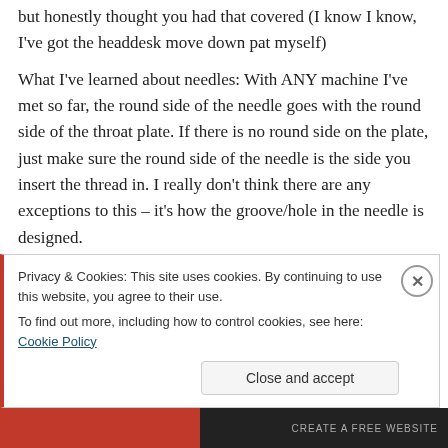but honestly thought you had that covered (I know I know, I've got the headdesk move down pat myself)
What I've learned about needles: With ANY machine I've met so far, the round side of the needle goes with the round side of the throat plate. If there is no round side on the plate, just make sure the round side of the needle is the side you insert the thread in. I really don't think there are any exceptions to this – it's how the groove/hole in the needle is designed.
Privacy & Cookies: This site uses cookies. By continuing to use this website, you agree to their use.
To find out more, including how to control cookies, see here: Cookie Policy